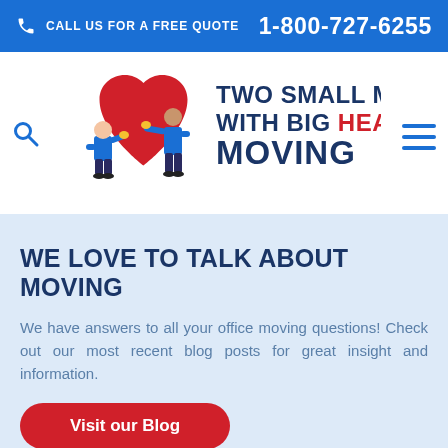CALL US FOR A FREE QUOTE   1-800-727-6255
[Figure (logo): Two Small Men With Big Hearts Moving logo: two movers carrying a large red heart, with company name in blue and red bold text]
WE LOVE TO TALK ABOUT MOVING
We have answers to all your office moving questions! Check out our most recent blog posts for great insight and information.
Visit our Blog